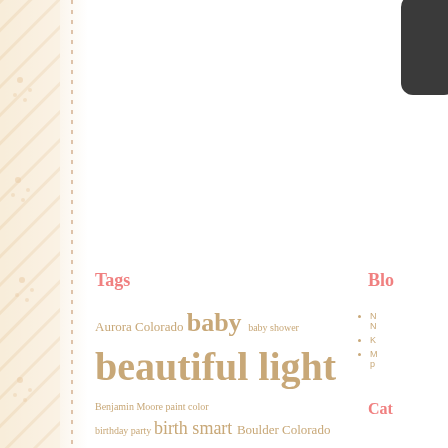[Figure (illustration): Decorative left border with diagonal stripe pattern and dot motifs in warm beige/tan tones]
[Figure (other): Partial dark rounded rectangle resembling a camera icon in top right corner]
Tags
Blog
Aurora Colorado baby baby shower beautiful light Benjamin Moore paint color birthday party birth smart Boulder Colorado boutique bow boutique photography product CamBella Carla Bruton childrens photography christine strickland Colorado Baby Colorado portrait photographer cousins
N N
K
M p
Cate